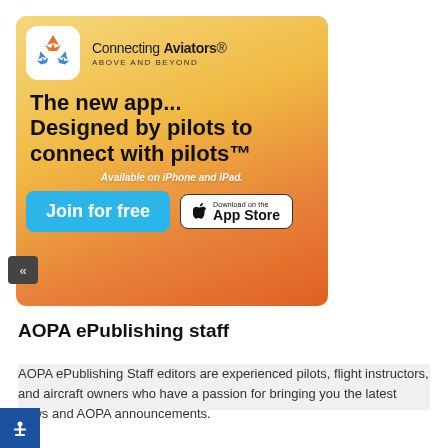[Figure (infographic): App advertisement banner for 'Connecting Aviators' app with gradient orange/yellow background, app icon, headline text, and download buttons]
AOPA ePublishing staff
AOPA ePublishing Staff editors are experienced pilots, flight instructors, and aircraft owners who have a passion for bringing you the latest news and AOPA announcements.